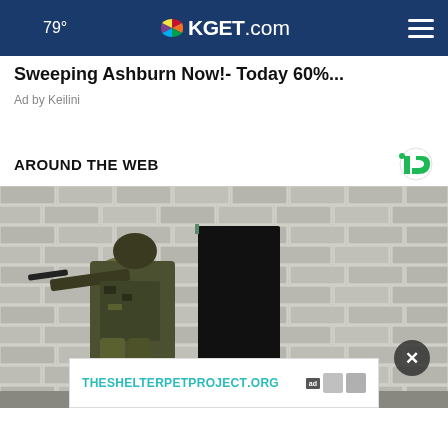🌙 79° | KGET.com
Sweeping Ashburn Now!- Today 60%...
Ad by Keilini
AROUND THE WEB
[Figure (photo): Soldier in combat gear holding rifle near brick wall with doorway opening, urban warfare setting]
THESHELTERPETPROJECT.ORG